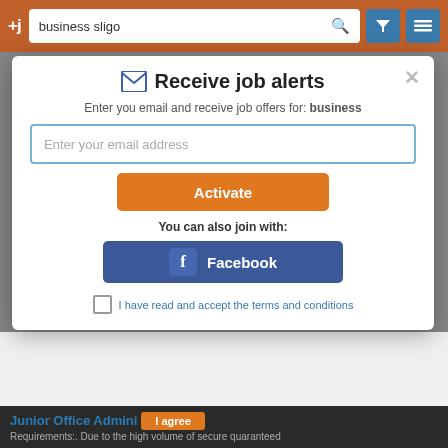[Figure (screenshot): Job search website screenshot showing navigation bar with '+j' logo, search box with 'business sligo', filter and menu icons in orange/blue color scheme]
Receive job alerts
Enter you email and receive job offers for: business
Enter your email address
Activate
You can also join with:
Facebook
I have read and accept the terms and conditions
Junior Office Admini...
Requirements:. Due to the high volume of secure quaranteed